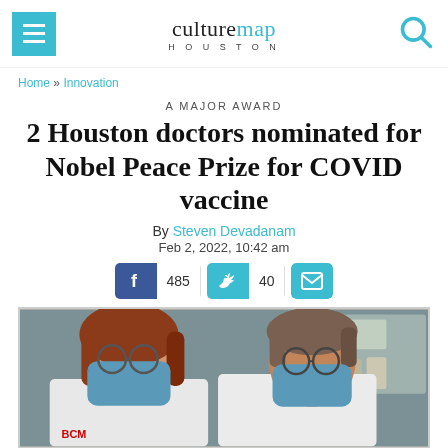culturemap HOUSTON
Home » Innovation
A MAJOR AWARD
2 Houston doctors nominated for Nobel Peace Prize for COVID vaccine
By Steven Devadanam
Feb 2, 2022, 10:42 am
[Figure (other): Social share buttons: Facebook (485 shares), Twitter (40 shares), Email]
[Figure (photo): Two doctors wearing white lab coats and blue face masks in a laboratory setting]